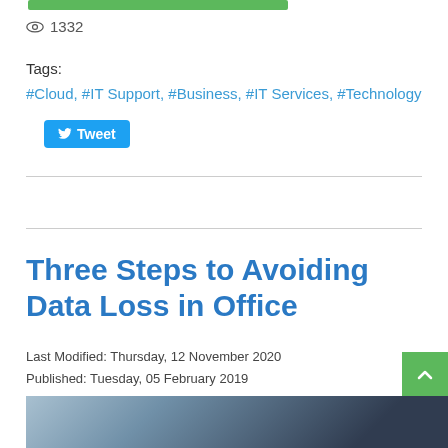1332
Tags:
#Cloud, #IT Support, #Business, #IT Services, #Technology
Tweet
Three Steps to Avoiding Data Loss in Office
Last Modified: Thursday, 12 November 2020
Published: Tuesday, 05 February 2019
IT Support Team
Insights, Cloud Computing, Backup and Disaster Recovery
[Figure (photo): Partial photo of a person in dark clothing, lower portion only visible]